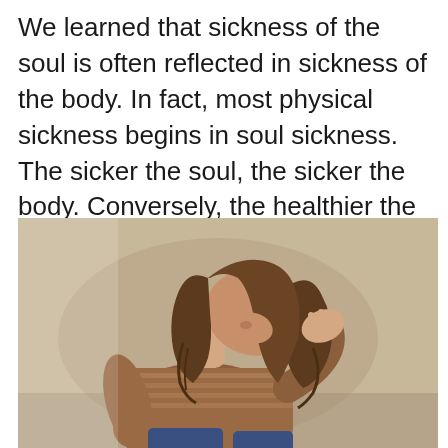We learned that sickness of the soul is often reflected in sickness of the body. In fact, most physical sickness begins in soul sickness. The sicker the soul, the sicker the body. Conversely, the healthier the soul, the healthier the body.
[Figure (photo): A young woman with long brown hair sitting hunched over with her head in her hands, appearing distressed or sad. She is wearing a light-colored shirt. The background is a muted beige/tan color.]